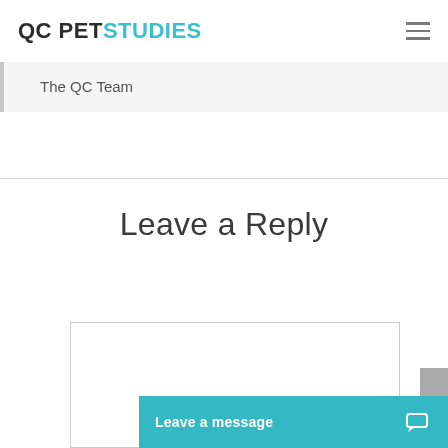QC PET STUDIES
The QC Team
Leave a Reply
[Figure (other): Empty comment text area box with border]
[Figure (other): Chat widget bar with text 'Leave a message' and chat bubble icon on teal background]